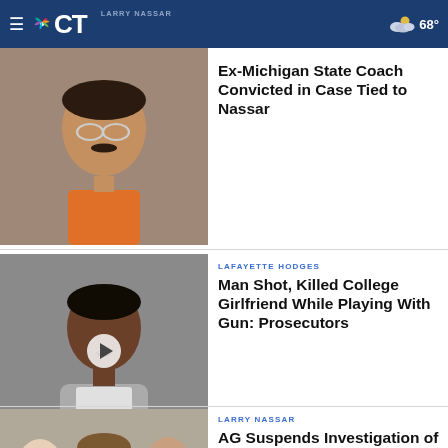NBC CT — LARRY NASSAR — 68°
[Figure (photo): Man in orange jumpsuit with glasses, courtroom photo]
Ex-Michigan State Coach Convicted in Case Tied to Nassar
LAFAYETTE HODGES
[Figure (photo): Young Black man in grey hoodie, mugshot style photo with video play button overlay]
Man Shot, Killed College Girlfriend While Playing With Gun: Prosecutors
LARRY NASSAR
[Figure (photo): Larry Nassar sitting in courtroom surrounded by people]
AG Suspends Investigation of Michigan State Over Nassar